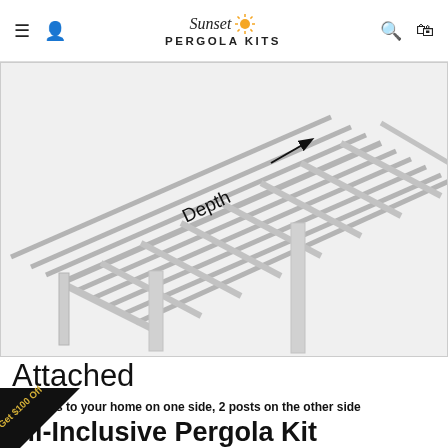Sunset Pergola Kits navigation bar
[Figure (illustration): 3D diagram of an attached pergola structure showing depth label, with parallel roof slats and posts, viewed from an isometric angle. The structure is grey/white rendered against a white background.]
Attached
Attaches to your home on one side, 2 posts on the other side
All-Inclusive Pergola Kit
Sunset Pergola kits include EVERYTHING you'll need a 100% complete, fully-assembled pergola. This oot attached pergola kit includes the ey components (text is color-coded to